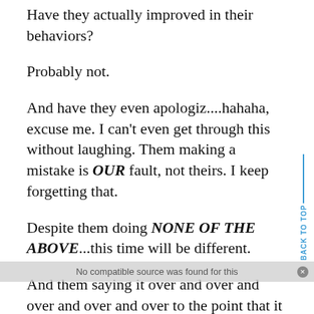Have they actually improved in their behaviors?
Probably not.
And have they even apologiz....hahaha, excuse me. I can't even get through this without laughing. Them making a mistake is OUR fault, not theirs. I keep forgetting that.
Despite them doing NONE OF THE ABOVE...this time will be different.
And them saying it over and over and over and over and over to the point that it becomes ad nauseam, know this... "this time will be different".
Why enjoy a peaceful life when you can have a needlessly chaotic life?